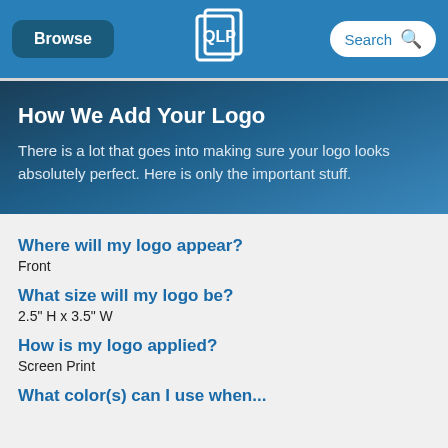Browse | [Logo] | Search
How We Add Your Logo
There is a lot that goes into making sure your logo looks absolutely perfect. Here is only the important stuff.
Where will my logo appear?
Front
What size will my logo be?
2.5" H x 3.5" W
How is my logo applied?
Screen Print
What color(s) can I use when...?